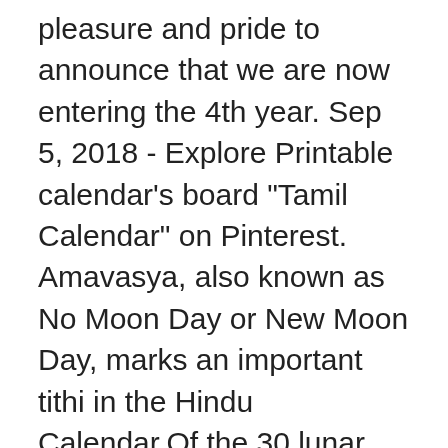pleasure and pride to announce that we are now entering the 4th year. Sep 5, 2018 - Explore Printable calendar's board "Tamil Calendar" on Pinterest. Amavasya, also known as No Moon Day or New Moon Day, marks an important tithi in the Hindu Calendar.Of the 30 lunar phases (or tithis) that make up a lunar month in the Hindu calendar, Amavasya is the one when no moon is visible in the sky. ; Blue –Common Local Holidays. He is blessed Soul and served more then 10000 people personally and more then 250,000 people online and still serving.. Tamil people refer this for all events like cultural or relgious. People mostly follow Panchangam daily. } Free My Vodafone Al  font-size: 36px